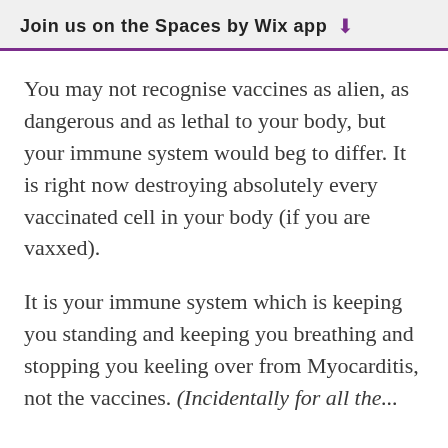Join us on the Spaces by Wix app
You may not recognise vaccines as alien, as dangerous and as lethal to your body, but your immune system would beg to differ. It is right now destroying absolutely every vaccinated cell in your body (if you are vaxxed).
It is your immune system which is keeping you standing and keeping you breathing and stopping you keeling over from Myocarditis, not the vaccines. (Incidentally for all the...